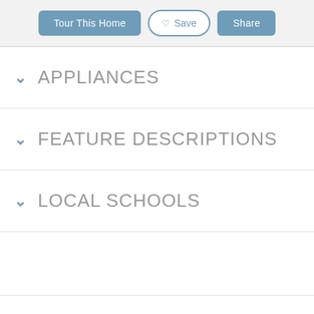Tour This Home | Save | Share
APPLIANCES
FEATURE DESCRIPTIONS
LOCAL SCHOOLS
ESTIMATE YOUR PAYMENT